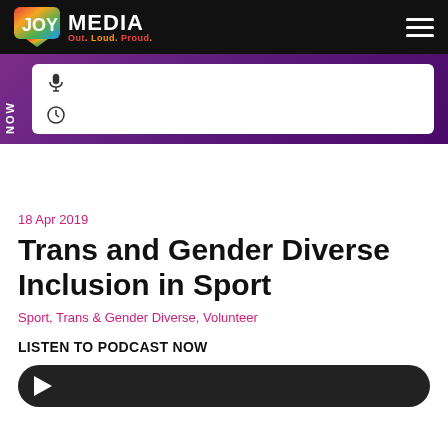JOY MEDIA Out. Loud. Proud.
[Figure (screenshot): JOY Media logo with rainbow 'JOY' badge and 'Out. Loud. Proud.' tagline on black navigation bar]
NOW
18 Apr 2019
Trans and Gender Diverse Inclusion in Sport
Sport, Trans & Gender Diverse, Volunteer
LISTEN TO PODCAST NOW